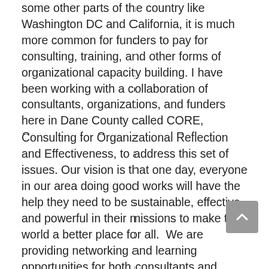some other parts of the country like Washington DC and California, it is much more common for funders to pay for consulting, training, and other forms of organizational capacity building. I have been working with a collaboration of consultants, organizations, and funders here in Dane County called CORE, Consulting for Organizational Reflection and Effectiveness, to address this set of issues. Our vision is that one day, everyone in our area doing good works will have the help they need to be sustainable, effective and powerful in their missions to make the world a better place for all.  We are providing networking and learning opportunities for both consultants and organizations, and are developing a matching fund to provide grants to organizations to pay for consulting and training. I'd love to talk with you afterwards if you'd like more information about